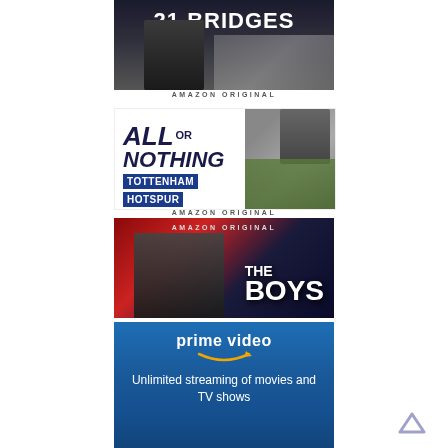[Figure (illustration): 21 Bridges movie poster — dark background with bridge silhouette, figure in foreground, bold white title '21 BRIDGES' at top]
AMAZON ORIGINAL
[Figure (illustration): All or Nothing: Tottenham Hotspur documentary poster — white background with bold blue serif text, soccer players and manager photos on right]
AMAZON ORIGINAL
[Figure (illustration): The Boys Amazon Original series poster — dark red and blue background, bearded man with sunglasses, 'THE BOYS' dripping white text]
[Figure (logo): Amazon Prime Video logo and promotional text: 'prime video' with smile arrow, 'Unlimited streaming of movies and TV shows']
Unlimited streaming of movies and TV shows